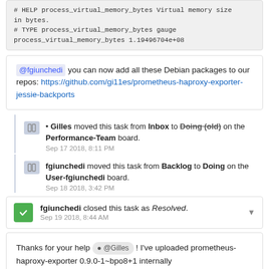# HELP process_virtual_memory_bytes Virtual memory size in bytes.
# TYPE process_virtual_memory_bytes gauge
process_virtual_memory_bytes 1.19496704e+08
@fgiunchedi you can now add all these Debian packages to our repos: https://github.com/gi11es/prometheus-haproxy-exporter-jessie-backports
Gilles moved this task from Inbox to Doing (old) on the Performance-Team board. Sep 17 2018, 8:11 PM
fgiunchedi moved this task from Backlog to Doing on the User-fgiunchedi board. Sep 18 2018, 3:42 PM
fgiunchedi closed this task as Resolved. Sep 19 2018, 8:44 AM
Thanks for your help @Gilles ! I've uploaded prometheus-haproxy-exporter 0.9.0-1~bpo8+1 internally